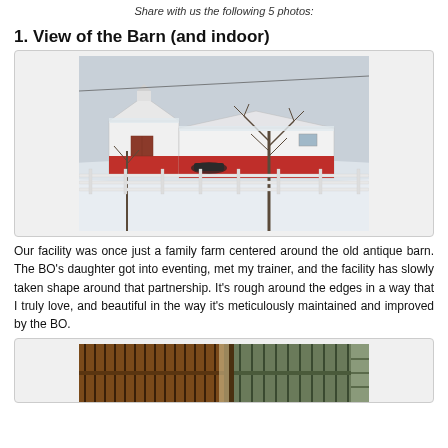Share with us the following 5 photos:
1. View of the Barn (and indoor)
[Figure (photo): Winter photo of a white barn with red trim and accents, surrounded by white wooden fences, a bare tree in the foreground, snow on the ground and rooftops, overcast sky.]
Our facility was once just a family farm centered around the old antique barn.  The BO's daughter got into eventing, met my trainer, and the facility has slowly taken shape around that partnership.  It's rough around the edges in a way that I truly love, and beautiful in the way it's meticulously maintained and improved by the BO.
[Figure (photo): Interior of a horse barn showing wooden stall fronts with metal bars/grilles, warm lighting visible in the background, and shelving or equipment visible on the right side.]